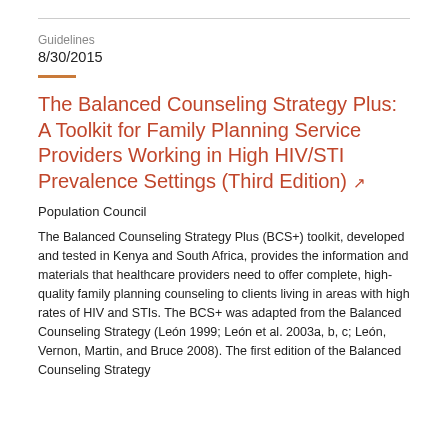Guidelines
8/30/2015
The Balanced Counseling Strategy Plus: A Toolkit for Family Planning Service Providers Working in High HIV/STI Prevalence Settings (Third Edition)
Population Council
The Balanced Counseling Strategy Plus (BCS+) toolkit, developed and tested in Kenya and South Africa, provides the information and materials that healthcare providers need to offer complete, high-quality family planning counseling to clients living in areas with high rates of HIV and STIs. The BCS+ was adapted from the Balanced Counseling Strategy (León 1999; León et al. 2003a, b, c; León, Vernon, Martin, and Bruce 2008). The first edition of the Balanced Counseling Strategy